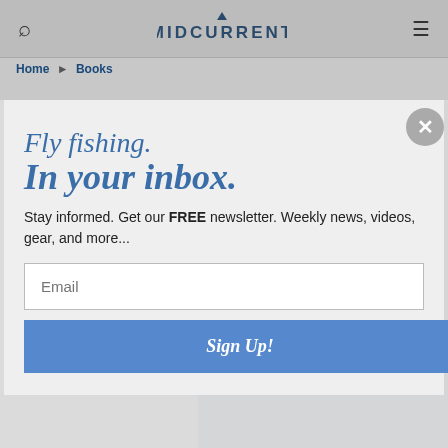MIDCURRENT
Home ▸ Books
TROUT TIPS: MORE THAN 250 FLY FISHING TIPS FROM THE MEMBERS OF TROUT UNLIMITED
[Figure (screenshot): Book cover showing 'TROUT TIPS' in large white text on grey/blue background, with 'EDITED BY KIRK DEETER' text]
Fly fishing. In your inbox.
Stay informed. Get our FREE newsletter. Weekly news, videos, gear, and more...
Email
Sign Up!